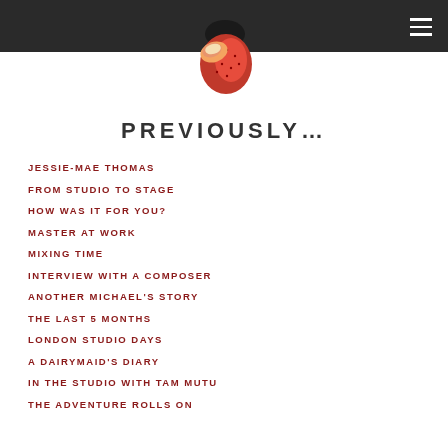[Figure (photo): A bitten strawberry on a white background, centered near the top of the page]
PREVIOUSLY...
JESSIE-MAE THOMAS
FROM STUDIO TO STAGE
HOW WAS IT FOR YOU?
MASTER AT WORK
MIXING TIME
INTERVIEW WITH A COMPOSER
ANOTHER MICHAEL'S STORY
THE LAST 5 MONTHS
LONDON STUDIO DAYS
A DAIRYMAID'S DIARY
IN THE STUDIO WITH TAM MUTU
THE ADVENTURE ROLLS ON